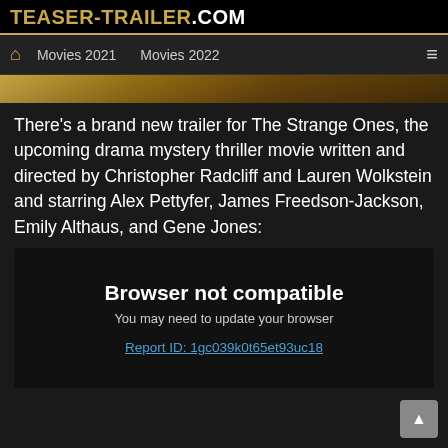TEASER-TRAILER.COM
🏠 Movies 2021   Movies 2022   ≡
[Figure (photo): Partial view of a movie scene image strip at the top of the article]
There's a brand new trailer for The Strange Ones, the upcoming drama mystery thriller movie written and directed by Christopher Radcliff and Lauren Wolkstein and starring Alex Pettyfer, James Freedson-Jackson, Emily Althaus, and Gene Jones:
[Figure (screenshot): Browser not compatible error message. Text reads: 'Browser not compatible', 'You may need to update your browser', 'Report ID: 1gc039k0t65et93uc18']